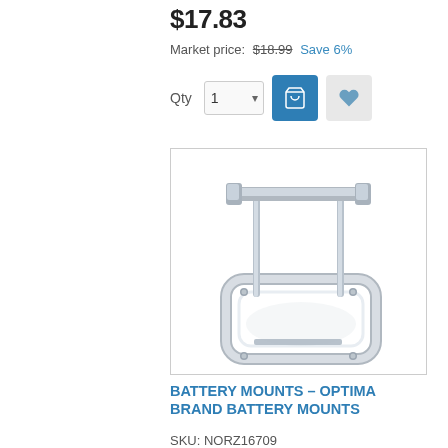$17.83
Market price: $18.99 Save 6%
[Figure (screenshot): Quantity selector with '1' and dropdown arrow, blue add-to-cart button with shopping cart icon, and grey wishlist heart button]
[Figure (photo): Silver/chrome metal battery mount bracket — Optima brand battery mount with rectangular base frame and vertical support rods with cross bar at top]
BATTERY MOUNTS – OPTIMA BRAND BATTERY MOUNTS
SKU: NORZ16709